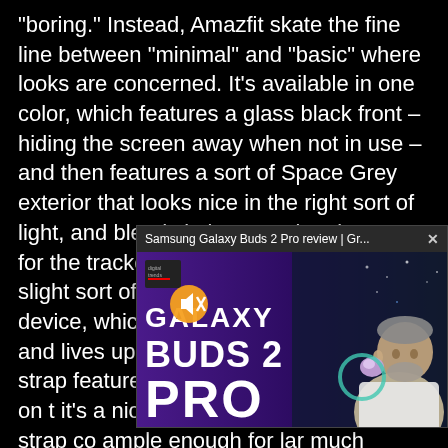“boring.” Instead, Amazfit skate the fine line between “minimal” and “basic” where looks are concerned. It’s available in one color, which features a glass black front – hiding the screen away when not in use – and then features a sort of Space Grey exterior that looks nice in the right sort of light, and blends in in most situations. As for the tracker itself, there’s an ever-so slight sort of curve to the body of the device, which rests nicely on the wrist, and lives up to the device’s name. The strap features a subtle diamond pattern on t it’s a nice touch that women. The strap co ample enough for lar much excess on sma pretty nice and is a s opening and a small
[Figure (screenshot): A video popup overlay showing a Samsung Galaxy Buds 2 Pro review video thumbnail. The popup has a title bar reading 'Samsung Galaxy Buds 2 Pro review | Gr...' with an X close button. The thumbnail shows bold white text 'GALAXY BUDS 2 PRO' on a purple/dark background, with a Digital Trends logo, a mute button icon, and a man holding earbuds on the right side.]